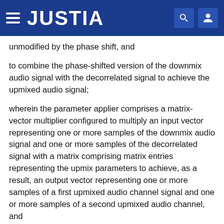JUSTIA
unmodified by the phase shift, and
to combine the phase-shifted version of the downmix audio signal with the decorrelated signal to achieve the upmixed audio signal;
wherein the parameter applier comprises a matrix-vector multiplier configured to multiply an input vector representing one or more samples of the downmix audio signal and one or more samples of the decorrelated signal with a matrix comprising matrix entries representing the upmix parameters to achieve, as a result, an output vector representing one or more samples of a first upmixed audio channel signal and one or more samples of a second upmixed audio channel, and
wherein the upmixer comprises an upmix